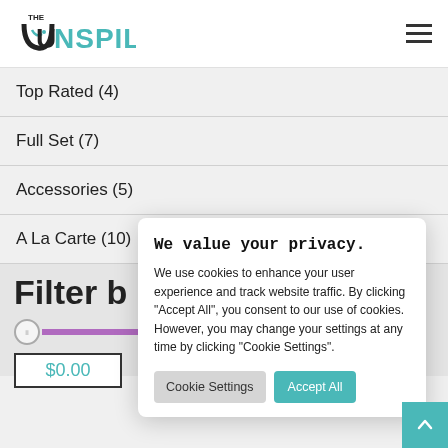[Figure (logo): The Unspilt logo - stylized U with teal accent and text UNSPILT in teal]
Top Rated (4)
Full Set (7)
Accessories (5)
A La Carte (10)
Filter b
$0.00
We value your privacy.
We use cookies to enhance your user experience and track website traffic. By clicking "Accept All", you consent to our use of cookies. However, you may change your settings at any time by clicking "Cookie Settings".
Cookie Settings
Accept All